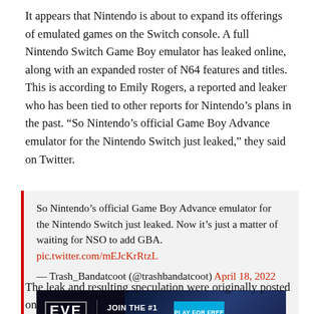It appears that Nintendo is about to expand its offerings of emulated games on the Switch console. A full Nintendo Switch Game Boy emulator has leaked online, along with an expanded roster of N64 features and titles. This is according to Emily Rogers, a reported and leaker who has been tied to other reports for Nintendo's plans in the past. “So Nintendo’s official Game Boy Advance emulator for the Nintendo Switch just leaked,” they said on Twitter.
So Nintendo's official Game Boy Advance emulator for the Nintendo Switch just leaked. Now it's just a matter of waiting for NSO to add GBA. pic.twitter.com/mEJcKrRtzL
— Trash_Bandatcoot (@trashbandatcoot) April 18, 2022
[Figure (screenshot): EVE Online advertisement banner: dark space background with spaceship imagery, EVE Online logo on left, JOIN THE #1 SPACE MMO tagline, PLAY FOR FREE button in blue, 12+ age rating]
The leak and resulting speculation were originally posted on